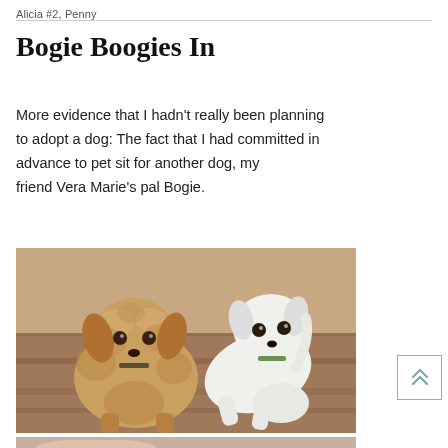Alicia #2, Penny
Bogie Boogies In
More evidence that I hadn't really been planning to adopt a dog: The fact that I had committed in advance to pet sit for another dog, my friend Vera Marie's pal Bogie.
[Figure (photo): Two dogs on a hardwood floor — a fluffy golden/tan curly-haired dog on the left and a white smooth-coated dog in a play bow on the right.]
[Figure (photo): Partial view of another photo at the bottom of the page, cropped.]